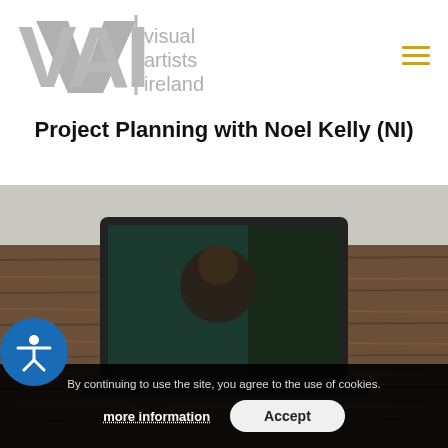[Figure (logo): Visual Artists Ireland (VAI) logo — large grey VAI lettermark with vertical bar, followed by grey text 'visual artists ireland']
Project Planning with Noel Kelly (NI)
[Figure (photo): Photo of a laptop on a wooden desk showing a video call with a person on screen; wooden paneled background]
By continuing to use the site, you agree to the use of cookies.
more information
Accept